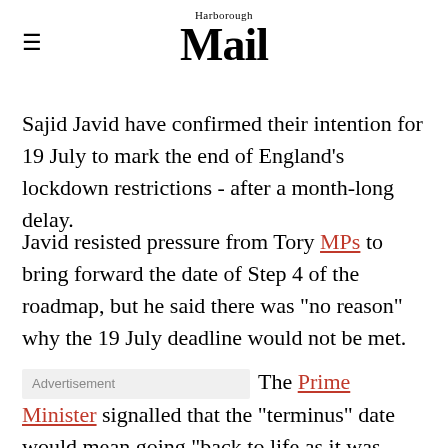Harborough Mail
Sajid Javid have confirmed their intention for 19 July to mark the end of England’s lockdown restrictions - after a month-long delay.
Javid resisted pressure from Tory MPs to bring forward the date of Step 4 of the roadmap, but he said there was “no reason” why the 19 July deadline would not be met.
The Prime Minister signalled that the “terminus” date would mean going “back to life as it was before Covid as far as possible”.